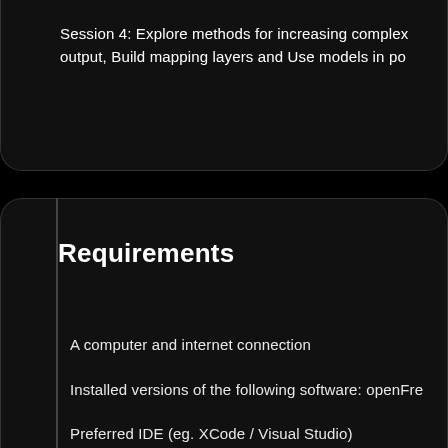Session 4: Explore methods for increasing complex output, Build mapping layers and Use models in po
Requirements
A computer and internet connection
Installed versions of the following software: openFre
Preferred IDE (eg. XCode / Visual Studio)